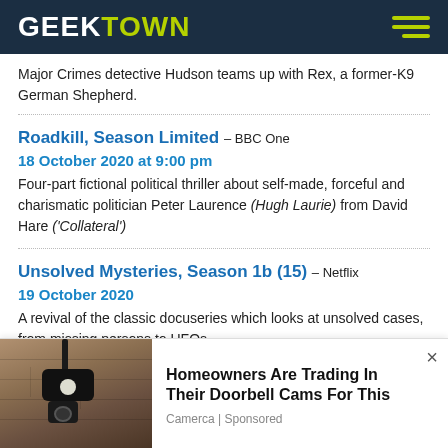GEEKTOWN
Major Crimes detective Hudson teams up with Rex, a former-K9 German Shepherd.
Roadkill, Season Limited – BBC One
18 October 2020 at 9:00 pm
Four-part fictional political thriller about self-made, forceful and charismatic politician Peter Laurence (Hugh Laurie) from David Hare ('Collateral')
Unsolved Mysteries, Season 1b (15) – Netflix
19 October 2020
A revival of the classic docuseries which looks at unsolved cases, from missing persons to UFOs.
[Figure (other): Advertisement banner: photo of outdoor wall lamp/security camera on stone wall, with ad text 'Homeowners Are Trading In Their Doorbell Cams For This' by Camerca | Sponsored, with close button X.]